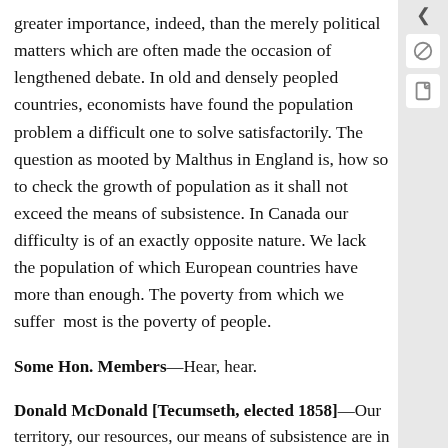greater importance, indeed, than the merely political matters which are often made the occasion of lengthened debate. In old and densely peopled countries, economists have found the population problem a difficult one to solve satisfactorily. The question as mooted by Malthus in England is, how so to check the growth of population as it shall not exceed the means of subsistence. In Canada our difficulty is of an exactly opposite nature. We lack the population of which European countries have more than enough. The poverty from which we suffer most is the poverty of people.
Some Hon. Members—Hear, hear.
Donald McDonald [Tecumseth, elected 1858]—Our territory, our resources, our means of subsistence are in advance of our numbers. And though, perhaps, a little